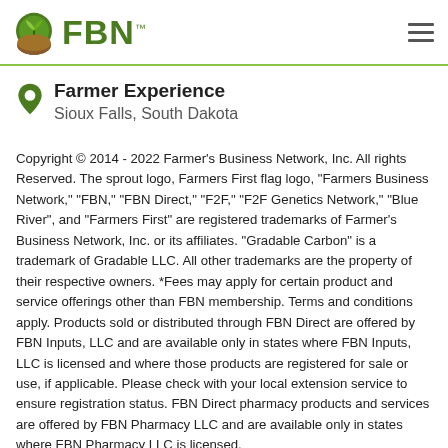FBN
Farmer Experience
Sioux Falls, South Dakota
Copyright © 2014 - 2022 Farmer's Business Network, Inc. All rights Reserved. The sprout logo, Farmers First flag logo, "Farmers Business Network," "FBN," "FBN Direct," "F2F," "F2F Genetics Network," "Blue River", and "Farmers First" are registered trademarks of Farmer's Business Network, Inc. or its affiliates. "Gradable Carbon" is a trademark of Gradable LLC. All other trademarks are the property of their respective owners. *Fees may apply for certain product and service offerings other than FBN membership. Terms and conditions apply. Products sold or distributed through FBN Direct are offered by FBN Inputs, LLC and are available only in states where FBN Inputs, LLC is licensed and where those products are registered for sale or use, if applicable. Please check with your local extension service to ensure registration status. FBN Direct pharmacy products and services are offered by FBN Pharmacy LLC and are available only in states where FBN Pharmacy LLC is licensed. Services not yet available in all states.